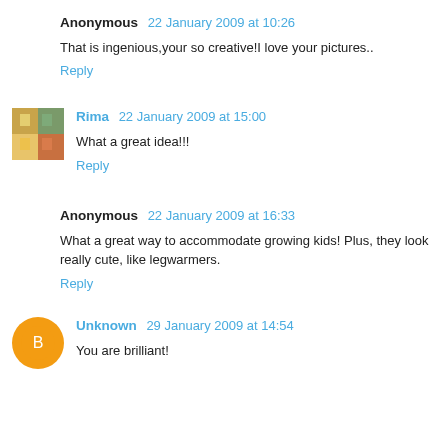Anonymous 22 January 2009 at 10:26
That is ingenious,your so creative!I love your pictures..
Reply
Rima 22 January 2009 at 15:00
What a great idea!!!
Reply
Anonymous 22 January 2009 at 16:33
What a great way to accommodate growing kids! Plus, they look really cute, like legwarmers.
Reply
Unknown 29 January 2009 at 14:54
You are brilliant!